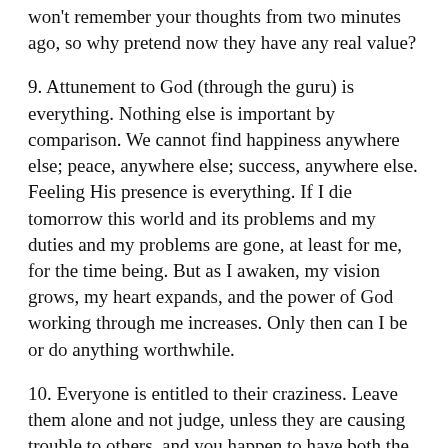won't remember your thoughts from two minutes ago, so why pretend now they have any real value?
9. Attunement to God (through the guru) is everything. Nothing else is important by comparison. We cannot find happiness anywhere else; peace, anywhere else; success, anywhere else. Feeling His presence is everything. If I die tomorrow this world and its problems and my duties and my problems are gone, at least for me, for the time being. But as I awaken, my vision grows, my heart expands, and the power of God working through me increases. Only then can I be or do anything worthwhile.
10. Everyone is entitled to their craziness. Leave them alone and not judge, unless they are causing trouble to others, and you happen to have both the duty and ability to do something about it. Otherwise, let them be and appreciate their highest potential as if just waiting, hidden, in the wings of their heart to fly out and surprise you.
11. As the world around us seems to get crazier and more